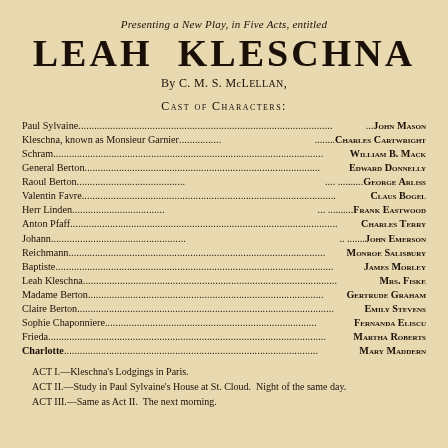Presenting a New Play, in Five Acts, entitled
LEAH KLESCHNA
By C. M. S. McLellan,
Cast of Characters:
Paul Sylvaine ... John Mason
Kleschna, known as Monsieur Garnier ... Charles Cartwright
Schram ... William B. Mack
General Berton ... Edward Donnelly
Raoul Berton ... George Arliss
Valentin Favre ... Claus Bogel
Herr Linden ... Frank Eastwood
Anton Pfaff ... Charles Terry
Johann ... John Emerson
Reichmann ... Monroe Salisbury
Baptiste ... James Morley
Leah Kleschna ... Mrs. Fiske
Madame Berton ... Gertrude Graham
Claire Berton ... Emily Stevens
Sophie Chaponniere ... Fernanda Eliscu
Frieda ... Martha Roberts
Charlotte ... Mary Maddern
ACT I.—Kleschna's Lodgings in Paris.
ACT II.—Study in Paul Sylvaine's House at St. Cloud. Night of the same day.
ACT III.—Same as Act II. The next morning.